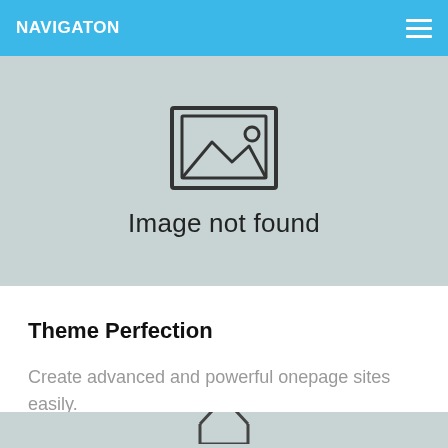NAVIGATON
[Figure (illustration): Image not found placeholder icon — a rectangle with a mountain/landscape image icon outline inside]
Image not found
Theme Perfection
Create advanced and powerful onepage sites easily.
[Figure (illustration): Partial view of a tag/price-label icon outline at the bottom of the page]